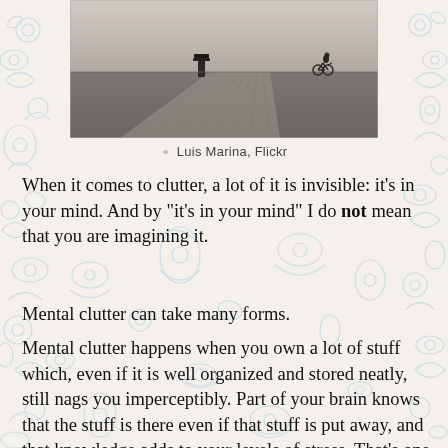[Figure (photo): Black and white photograph of a pier/dock extending into calm water, with a bicycle and figure visible in the distance on the right side]
Luis Marina, Flickr
When it comes to clutter, a lot of it is invisible: it's in your mind. And by "it's in your mind" I do not mean that you are imagining it.
Mental clutter can take many forms.
Mental clutter happens when you own a lot of stuff which, even if it is well organized and stored neatly, still nags you imperceptibly. Part of your brain knows that the stuff is there even if that stuff is put away, and that knowledge adds to your levels of stress. That's one reason why I want to own fewer things.